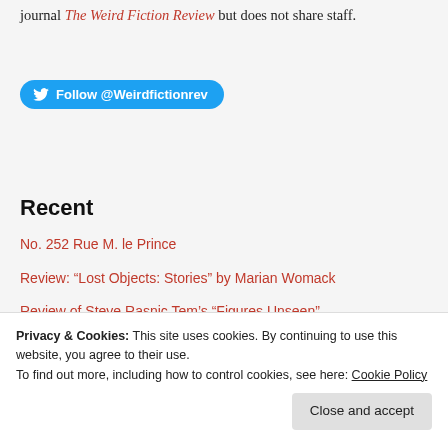This site exists in a symbiotic relationship with a/VenturA print journal The Weird Fiction Review but does not share staff.
[Figure (other): Twitter follow button with bird icon reading 'Follow @Weirdfictionrev']
Recent
No. 252 Rue M. le Prince
Review: “Lost Objects: Stories” by Marian Womack
Review of Steve Rasnic Tem’s “Figures Unseen”
Sisyphean: An Interview with Weird Scifi Author Dempow Torishima
Privacy & Cookies: This site uses cookies. By continuing to use this website, you agree to their use. To find out more, including how to control cookies, see here: Cookie Policy
Cicisbeo